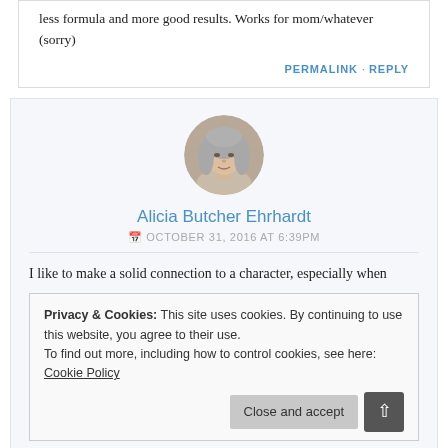less formula and more good results. Works for mom/whatever (sorry)
PERMALINK · REPLY
[Figure (photo): Circular avatar photo of Alicia Butcher Ehrhardt, a woman with gray/white wavy hair]
Alicia Butcher Ehrhardt
OCTOBER 31, 2016 AT 6:39PM
I like to make a solid connection to a character, especially when
Privacy & Cookies: This site uses cookies. By continuing to use this website, you agree to their use.
To find out more, including how to control cookies, see here: Cookie Policy
Close and accept
fantasy – where the narrator is important, and you want to see